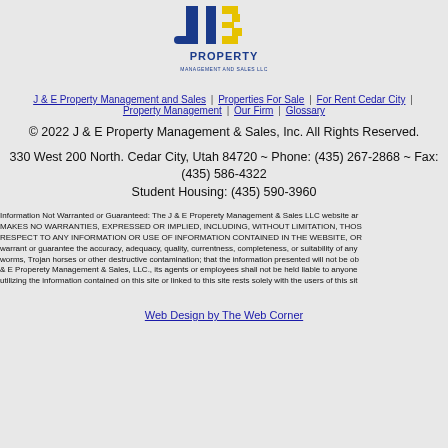[Figure (logo): J&E Property Management and Sales LLC logo with blue J and yellow E letters above the text PROPERTY MANAGEMENT AND SALES LLC]
J & E Property Management and Sales | Properties For Sale | For Rent Cedar City | Property Management | Our Firm | Glossary
© 2022 J & E Property Management & Sales, Inc. All Rights Reserved.
330 West 200 North. Cedar City, Utah 84720 ~ Phone: (435) 267-2868 ~ Fax: (435) 586-4322 Student Housing: (435) 590-3960
Information Not Warranted or Guaranteed: The J & E Properety Management & Sales LLC website and MAKES NO WARRANTIES, EXPRESSED OR IMPLIED, INCLUDING, WITHOUT LIMITATION, THOSE RESPECT TO ANY INFORMATION OR USE OF INFORMATION CONTAINED IN THE WEBSITE, OR warrant or guarantee the accuracy, adequacy, quality, currentness, completeness, or suitability of any worms, Trojan horses or other destructive contamination; that the information presented will not be ob & E Properety Management & Sales, LLC., its agents or employees shall not be held liable to anyone utilizing the information contained on this site or linked to this site rests solely with the users of this sit
Web Design by The Web Corner